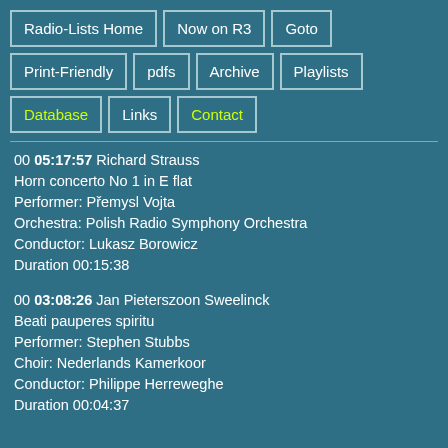Radio-Lists Home
Now on R3
Goto
Print-Friendly
pdfs
Archive
Playlists
Database
Links
Contact
00 05:17:57 Richard Strauss
Horn concerto No 1 in E flat
Performer: Přemysl Vojta
Orchestra: Polish Radio Symphony Orchestra
Conductor: Lukasz Borowicz
Duration 00:15:38
00 03:08:26 Jan Pieterszoon Sweelinck
Beati pauperes spiritu
Performer: Stephen Stubbs
Choir: Nederlands Kamerkoor
Conductor: Philippe Herreweghe
Duration 00:04:37